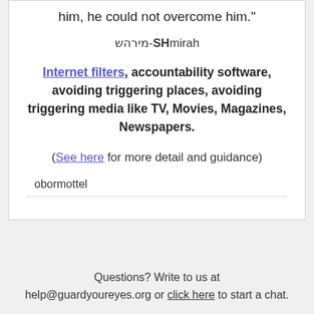him, he could not overcome him."
מירהש-SHmirah
Internet filters, accountability software, avoiding triggering places, avoiding triggering media like TV, Movies, Magazines, Newspapers.
(See here for more detail and guidance)
obormottel
Questions? Write to us at help@guardyoureyes.org or click here to start a chat.